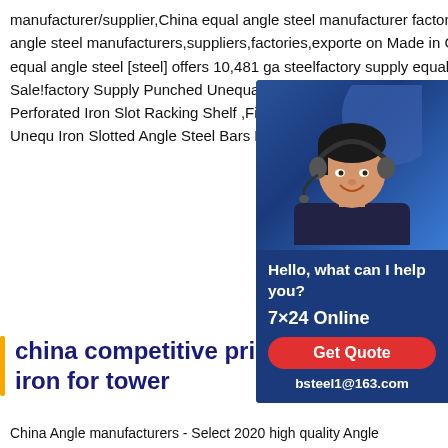manufacturer/supplier,China equal angle steel manufacturer factory list,find qualified Chinese equal angle steel manufacturers,suppliers,factories,exporters on Made in China.[plate]galvanized equal angle steel [steel] offers 10,481 ga steelfactory supply equal and unequal an STEELHot Sale!factory Supply Punched Unequal .Hot Sale!factory Supply Punched Unequal Galvanized Perforated Iron Slotted Racking Shelf ,Find Complete Details about Supply Punched Holes Equal And Unequal Iron Slotted Angle Steel Bars For Racking Shelf,Mild Steel Angle St37.2 Angle Bar With
[Figure (photo): Customer service representative with headset, wearing dark clothing, smiling. Dark blue background with curved shape. Ad box with text: Hello, what can I help you? 7x24 Online. Get Quote button. bsteel1@163.com email.]
china competitive price steel angle iron for tower
China Angle manufacturers - Select 2020 high quality Angle